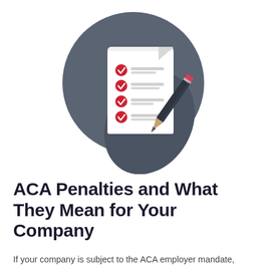[Figure (illustration): Circular dark gray icon featuring a white checklist document with four red checkmarks and gray lines representing text, alongside a dark pencil with a red eraser tip. The circle casts a diagonal shadow.]
ACA Penalties and What They Mean for Your Company
If your company is subject to the ACA employer mandate,